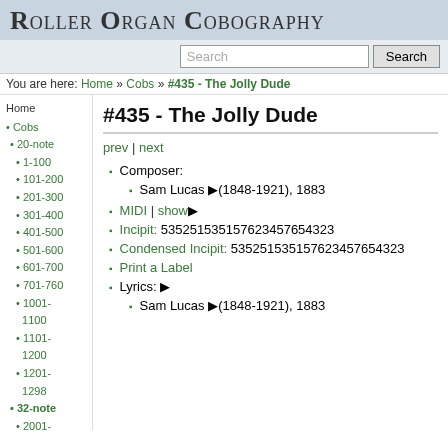Roller Organ Cobography
Search
You are here: Home » Cobs » #435 - The Jolly Dude
#435 - The Jolly Dude
prev | next
Composer:
Sam Lucas (1848-1921), 1883
MIDI | show
Incipit: 535251535157623457654323
Condensed Incipit: 535251535157623457654323
Print a Label
Lyrics:
Sam Lucas (1848-1921), 1883